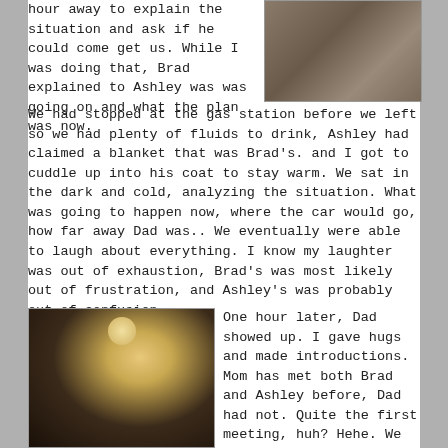hour away to explain the situation and ask if he could come get us. While I was doing that, Brad explained to Ashley was was going on and what the plan was now.
[Figure (photo): Close-up photo of what appears to be a woven or textured surface, dark tones]
We had stopped at the gas station before we left so we had plenty of fluids to drink, Ashley had claimed a blanket that was Brad's. and I got to cuddle up into his coat to stay warm. We sat in the dark and cold, analyzing the situation. What was going to happen now, where the car would go, how far away Dad was.. We eventually were able to laugh about everything. I know my laughter was out of exhaustion, Brad's was most likely out of frustration, and Ashley's was probably out of confusion.
[Figure (photo): Dark nighttime photo of a person (male, blond hair) illuminated by a light source, appearing to be sitting in a vehicle]
One hour later, Dad showed up. I gave hugs and made introductions. Mom has met both Brad and Ashley before, Dad had not. Quite the first meeting, huh? Hehe. We all hopped into the